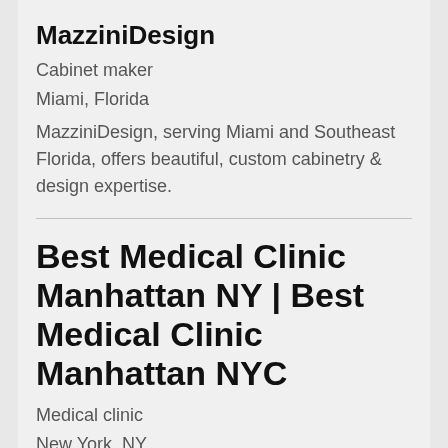MazziniDesign
Cabinet maker
Miami, Florida
MazziniDesign, serving Miami and Southeast Florida, offers beautiful, custom cabinetry & design expertise.
Best Medical Clinic Manhattan NY | Best Medical Clinic Manhattan NYC
Medical clinic
New York, NY
Best Medical Clinic In Manhattan New York